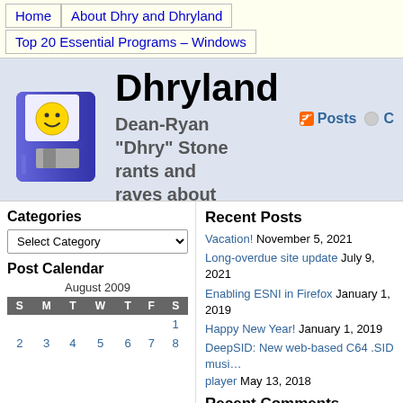Home | About Dhry and Dhryland | Top 20 Essential Programs – Windows
Dhryland
Dean-Ryan "Dhry" Stone rants and raves about software, technology and various other things.
Categories
Select Category
Post Calendar
| S | M | T | W | T | F | S |
| --- | --- | --- | --- | --- | --- | --- |
|  |  |  |  |  |  | 1 |
| 2 | 3 | 4 | 5 | 6 | 7 | 8 |
Recent Posts
Vacation! November 5, 2021
Long-overdue site update July 9, 2021
Enabling ESNI in Firefox January 1, 2019
Happy New Year! January 1, 2019
DeepSID: New web-based C64 .SID music player May 13, 2018
Recent Comments